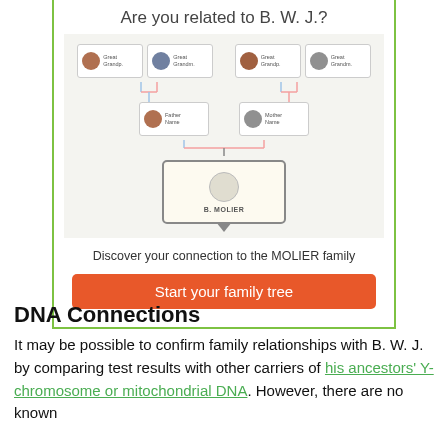[Figure (organizational-chart): Family tree showing ancestors connecting to B. MOLIER at the bottom, with grandparents at the top, parents in the middle row, and the subject at the bottom with a speech-bubble style card. Includes an orange 'Start your family tree' button and text 'Discover your connection to the MOLIER family'.]
DNA Connections
It may be possible to confirm family relationships with B. W. J. by comparing test results with other carriers of his ancestors' Y-chromosome or mitochondrial DNA. However, there are no known